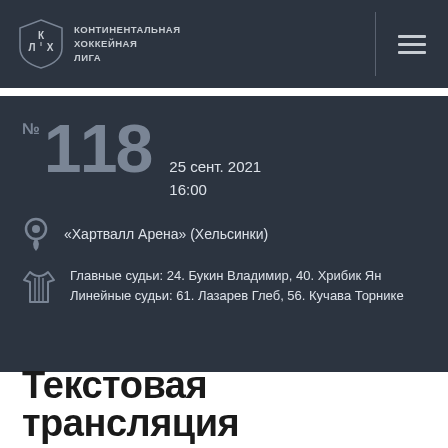КХЛ — КОНТИНЕНТАЛЬНАЯ ХОККЕЙНАЯ ЛИГА
№ 118  25 сент. 2021  16:00
«Хартвалл Арена» (Хельсинки)
Главные судьи: 24. Букин Владимир, 40. Хрибик Ян
Линейные судьи: 61. Лазарев Глеб, 56. Кучава Торнике
Текстовая трансляция